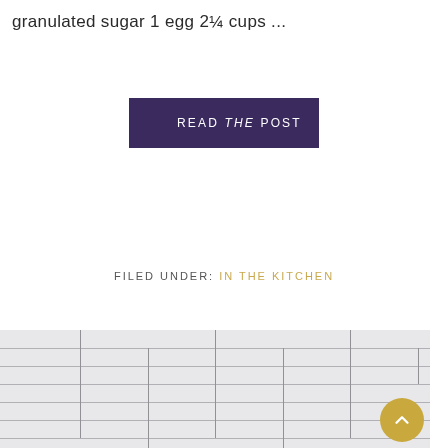granulated sugar 1 egg 2¼ cups ...
READ THE POST
FILED UNDER: IN THE KITCHEN
[Figure (photo): Close-up photo of white/light grey subway tile or brick wall pattern with dark grout lines, partially blurred]